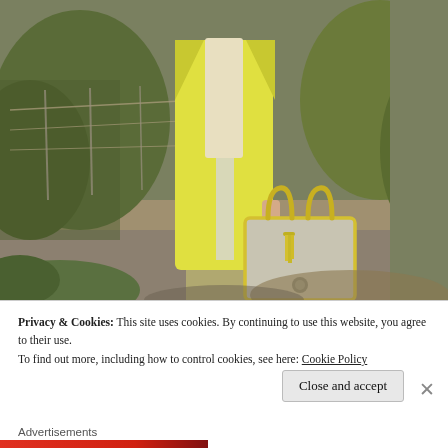[Figure (photo): A person wearing a long yellow cardigan/coat over light trousers, holding a grey and yellow tote bag with tassels. Background shows outdoor vegetation and gravel path.]
Privacy & Cookies: This site uses cookies. By continuing to use this website, you agree to their use.
To find out more, including how to control cookies, see here: Cookie Policy
Close and accept
Advertisements